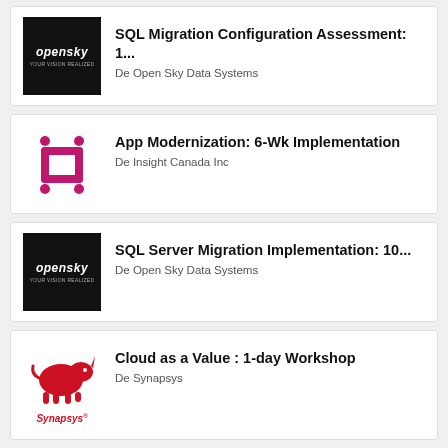[Figure (logo): OpenSky Data Systems black logo with white text]
SQL Migration Configuration Assessment: 1...
De Open Sky Data Systems
[Figure (logo): Insight Canada Inc logo with magenta plus/minus symbol]
App Modernization: 6-Wk Implementation
De Insight Canada Inc
[Figure (logo): OpenSky Data Systems black logo with white text]
SQL Server Migration Implementation: 10...
De Open Sky Data Systems
[Figure (logo): Synapsys red rhinoceros logo with red Synapsys text]
Cloud as a Value : 1-day Workshop
De Synapsys